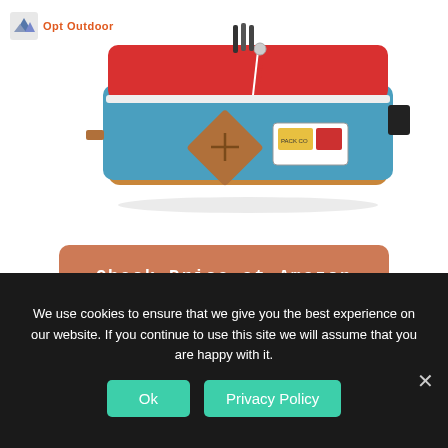[Figure (logo): Opt Outdoor logo with mountain icon and orange text]
[Figure (photo): A red and blue fanny pack / waist bag with leather trim, zipper pulls, and a brand patch, shown on white background]
Check Price at Amazon
Fanny packs are back in style, and for damn good reason. The simple design that sits on your hip can
We use cookies to ensure that we give you the best experience on our website. If you continue to use this site we will assume that you are happy with it.
Ok
Privacy Policy